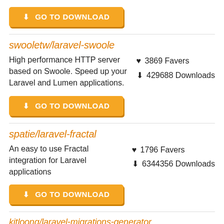[Figure (screenshot): Orange GO TO DOWNLOAD button at the top of the page]
swooletw/laravel-swoole
High performance HTTP server based on Swoole. Speed up your Laravel and Lumen applications.
♥ 3869 Favers
⬇ 429688 Downloads
[Figure (screenshot): Orange GO TO DOWNLOAD button for swooletw/laravel-swoole]
spatie/laravel-fractal
An easy to use Fractal integration for Laravel applications
♥ 1796 Favers
⬇ 6344356 Downloads
[Figure (screenshot): Orange GO TO DOWNLOAD button for spatie/laravel-fractal]
kitloong/laravel-migrations-generator